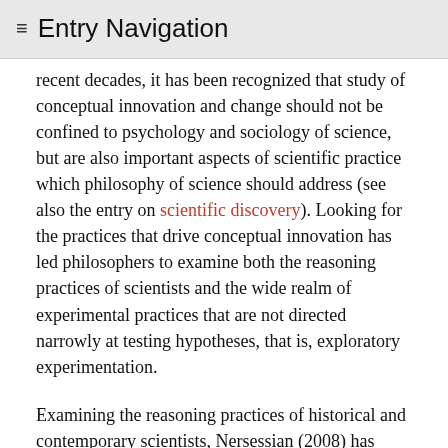≡ Entry Navigation
recent decades, it has been recognized that study of conceptual innovation and change should not be confined to psychology and sociology of science, but are also important aspects of scientific practice which philosophy of science should address (see also the entry on scientific discovery). Looking for the practices that drive conceptual innovation has led philosophers to examine both the reasoning practices of scientists and the wide realm of experimental practices that are not directed narrowly at testing hypotheses, that is, exploratory experimentation.
Examining the reasoning practices of historical and contemporary scientists, Nersessian (2008) has argued that new scientific concepts are constructed as solutions to specific problems by systematic reasoning, and that of analogy, visual representation and thought-experimentation are among the important reasoning practices employed. These ubiquitous forms of reasoning are reliable—but also fallible—methods of conceptual development and change. On her account, model-based